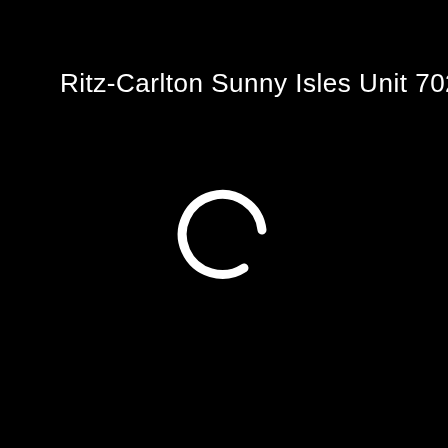Ritz-Carlton Sunny Isles Unit 702
[Figure (logo): A white letter C (loading spinner or stylized C logo) centered on a black background]